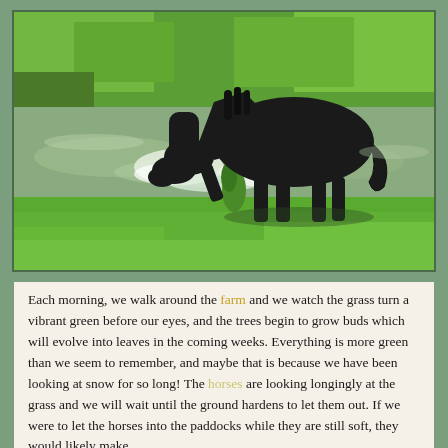[Figure (photo): A black horse standing in a shallow stream or river, splashing water with its front leg. The horse is lowering its head toward the water. Lush green grass and meadow are visible in the background. Bright sunlight, outdoor farm setting.]
Each morning, we walk around the farm and we watch the grass turn a vibrant green before our eyes, and the trees begin to grow buds which will evolve into leaves in the coming weeks. Everything is more green than we seem to remember, and maybe that is because we have been looking at snow for so long! The horses are looking longingly at the grass and we will wait until the ground hardens to let them out. If we were to let the horses into the paddocks while they are still soft, they would likely make